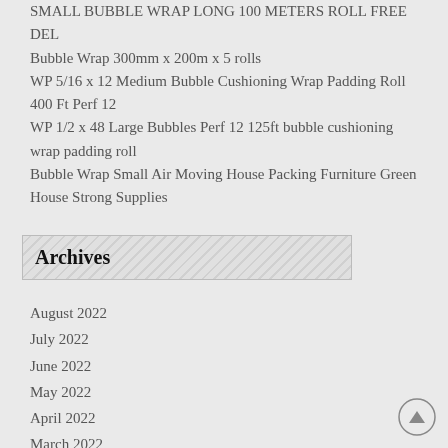SMALL BUBBLE WRAP LONG 100 METERS ROLL FREE DEL
Bubble Wrap 300mm x 200m x 5 rolls
WP 5/16 x 12 Medium Bubble Cushioning Wrap Padding Roll 400 Ft Perf 12
WP 1/2 x 48 Large Bubbles Perf 12 125ft bubble cushioning wrap padding roll
Bubble Wrap Small Air Moving House Packing Furniture Green House Strong Supplies
Archives
August 2022
July 2022
June 2022
May 2022
April 2022
March 2022
February 2022